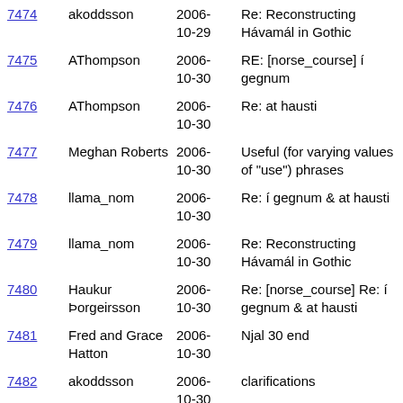| ID | Author | Date | Subject |
| --- | --- | --- | --- |
| 7474 | akoddsson | 2006-10-29 | Re: Reconstructing Hávamál in Gothic |
| 7475 | AThompson | 2006-10-30 | RE: [norse_course] í gegnum |
| 7476 | AThompson | 2006-10-30 | Re: at hausti |
| 7477 | Meghan Roberts | 2006-10-30 | Useful (for varying values of "use") phrases |
| 7478 | llama_nom | 2006-10-30 | Re: í gegnum & at hausti |
| 7479 | llama_nom | 2006-10-30 | Re: Reconstructing Hávamál in Gothic |
| 7480 | Haukur Þorgeirsson | 2006-10-30 | Re: [norse_course] Re: í gegnum & at hausti |
| 7481 | Fred and Grace Hatton | 2006-10-30 | Njal 30 end |
| 7482 | akoddsson | 2006-10-30 | clarifications |
| 7483 | llama_nom | 2006-10-31 | Re: í gegnum & at hausti (googling through the autumn) |
| 7484 | Haukur Þorgeirsson | 2006-10-31 | Re: [norse_course] Re: í gegnum & at hausti (googling through the |